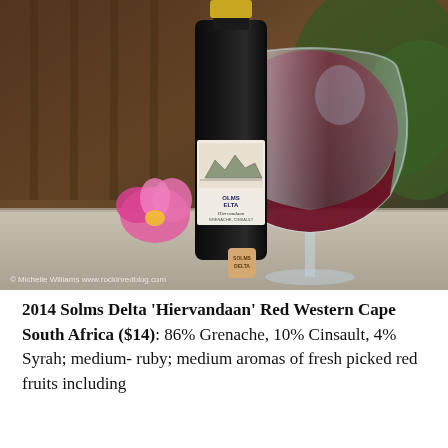[Figure (photo): A wine bottle of Solms Delta 'Hiervandaan' red wine next to a large wine glass filled with red wine, a pink tulip flower, and a cork with 'Solms Delta' branding, on a stone surface with blurred outdoor background.]
2014 Solms Delta 'Hiervandaan' Red Western Cape South Africa ($14): 86% Grenache, 10% Cinsault, 4% Syrah; medium- ruby; medium aromas of fresh picked red fruits including